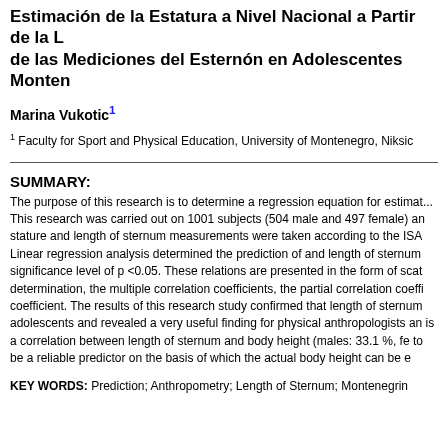Estimación de la Estatura a Nivel Nacional a Partir de la Longitud de las Mediciones del Esternón en Adolescentes Montenegrinos
Marina Vukotic¹
¹ Faculty for Sport and Physical Education, University of Montenegro, Niksic
SUMMARY:
The purpose of this research is to determine a regression equation for estimating stature. This research was carried out on 1001 subjects (504 male and 497 female) and stature and length of sternum measurements were taken according to the ISAK protocol. Linear regression analysis determined the prediction of and length of sternum measurements at significance level of p <0.05. These relations are presented in the form of scatter diagram, coefficient of determination, the multiple correlation coefficients, the partial correlation coefficients and regression coefficient. The results of this research study confirmed that length of sternum is an important factor in adolescents and revealed a very useful finding for physical anthropologists and forensic experts. There is a correlation between length of sternum and body height (males: 33.1 %, females: 17.8 %) and proved to be a reliable predictor on the basis of which the actual body height can be estimated.
KEY WORDS: Prediction; Anthropometry; Length of Sternum; Montenegrin